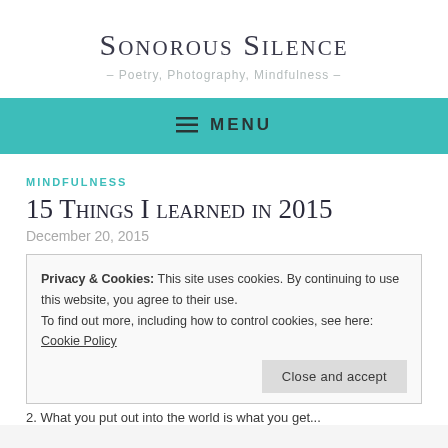Sonorous Silence
– Poetry, Photography, Mindfulness –
≡ MENU
MINDFULNESS
15 Things I learned in 2015
December 20, 2015
Privacy & Cookies: This site uses cookies. By continuing to use this website, you agree to their use.
To find out more, including how to control cookies, see here: Cookie Policy
Close and accept
2. What you put out into the world is what you get...